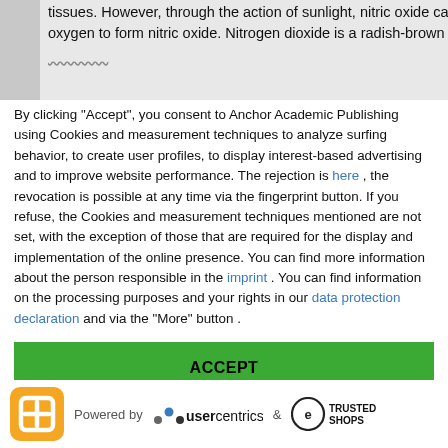tissues. However, through the action of sunlight, nitric oxide ca... oxygen to form nitric oxide. Nitrogen dioxide is a radish-brown...
By clicking "Accept", you consent to Anchor Academic Publishing using Cookies and measurement techniques to analyze surfing behavior, to create user profiles, to display interest-based advertising and to improve website performance. The rejection is here , the revocation is possible at any time via the fingerprint button. If you refuse, the Cookies and measurement techniques mentioned are not set, with the exception of those that are required for the display and implementation of the online presence. You can find more information about the person responsible in the imprint . You can find information on the processing purposes and your rights in our data protection declaration and via the "More" button .
ACCEPT
MORE
[Figure (logo): Usercentrics and Trusted Shops powered by logo footer bar with orange square icon, usercentrics dots logo, and trusted shops circular logo]